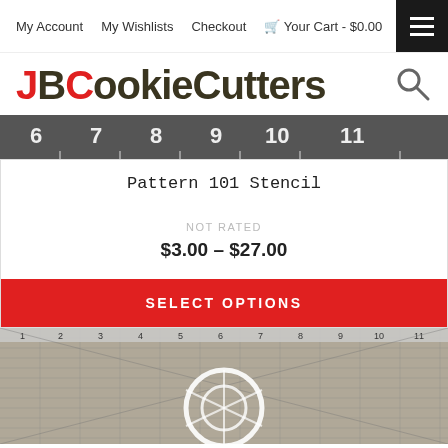My Account  My Wishlists  Checkout  Your Cart - $0.00
[Figure (logo): JBCookieCutters logo with JB and C in red, rest in dark olive/black, bold sans-serif]
[Figure (photo): Ruler/measuring tape background image showing numbers 6 through 11]
Pattern 101 Stencil
NOT RATED
$3.00 – $27.00
SELECT OPTIONS
[Figure (photo): Product photo showing a stencil of a circular pattern (soccer ball / geometric design) on a grid measuring mat with rulers]